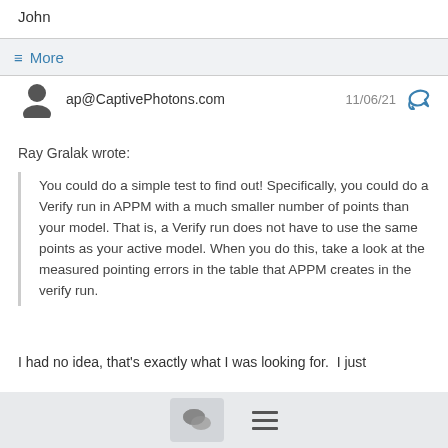John
≡ More
ap@CaptivePhotons.com   11/06/21
Ray Gralak wrote:
You could do a simple test to find out! Specifically, you could do a Verify run in APPM with a much smaller number of points than your model. That is, a Verify run does not have to use the same points as your active model. When you do this, take a look at the measured pointing errors in the table that APPM creates in the verify run.
I had no idea, that's exactly what I was looking for.  I just